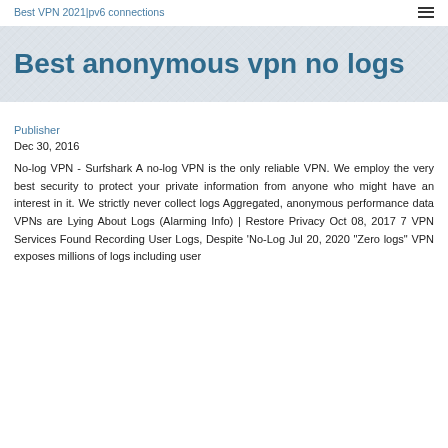Best VPN 2021|pv6 connections
Best anonymous vpn no logs
Publisher
Dec 30, 2016
No-log VPN - Surfshark A no-log VPN is the only reliable VPN. We employ the very best security to protect your private information from anyone who might have an interest in it. We strictly never collect logs Aggregated, anonymous performance data VPNs are Lying About Logs (Alarming Info) | Restore Privacy Oct 08, 2017 7 VPN Services Found Recording User Logs, Despite 'No-Log Jul 20, 2020 "Zero logs" VPN exposes millions of logs including user